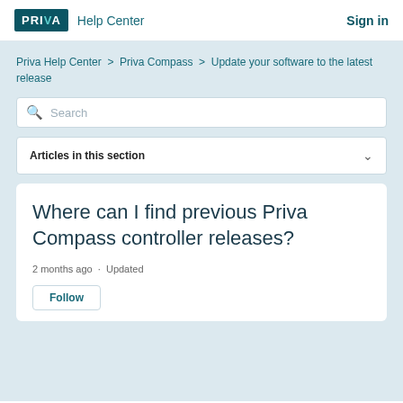PRIVA Help Center | Sign in
Priva Help Center > Priva Compass > Update your software to the latest release
Search
Articles in this section
Where can I find previous Priva Compass controller releases?
2 months ago · Updated
Follow